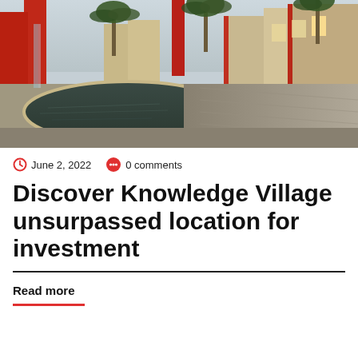[Figure (photo): Outdoor courtyard of Knowledge Village with a reflective water feature, tall red columns, palm trees, and beige/red modern buildings in the background.]
June 2, 2022   0 comments
Discover Knowledge Village unsurpassed location for investment
Read more